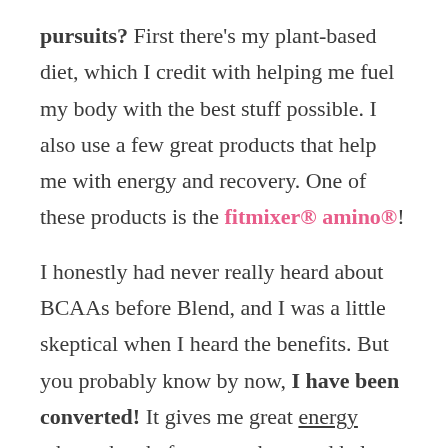pursuits? First there's my plant-based diet, which I credit with helping me fuel my body with the best stuff possible. I also use a few great products that help me with energy and recovery. One of these products is the fitmixer® amino®!
I honestly had never really heard about BCAAs before Blend, and I was a little skeptical when I heard the benefits. But you probably know by now, I have been converted! It gives me great energy when taken before a workout and helps with muscle recovery after a workout. My friend Laura says a great